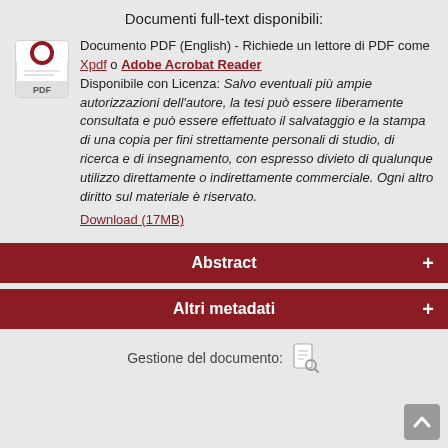Documenti full-text disponibili:
Documento PDF (English) - Richiede un lettore di PDF come Xpdf o Adobe Acrobat Reader
Disponibile con Licenza: Salvo eventuali più ampie autorizzazioni dell'autore, la tesi può essere liberamente consultata e può essere effettuato il salvataggio e la stampa di una copia per fini strettamente personali di studio, di ricerca e di insegnamento, con espresso divieto di qualunque utilizzo direttamente o indirettamente commerciale. Ogni altro diritto sul materiale è riservato.
Download (17MB)
Abstract
Altri metadati
Gestione del documento: